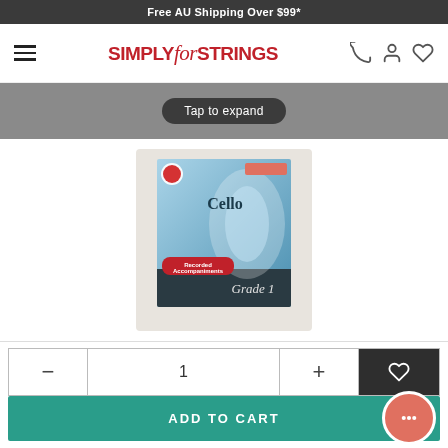Free AU Shipping Over $99*
[Figure (logo): Simply for Strings logo with stylized italic 'for' text in red]
[Figure (screenshot): Mobile product page showing a Cello Grade 1 book with recorded accompaniments, tap to expand overlay on hero image, quantity selector, and Add to Cart button]
Tap to expand
1
ADD TO CART